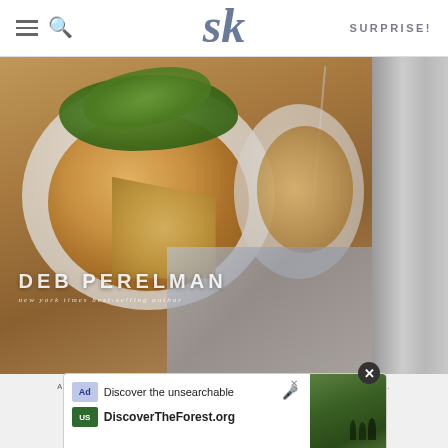SURPRISE!
[Figure (photo): Cookbook cover showing a frittata or potato pancake on a plate with green leaves, by Deb Perelman, new york times best-selling author]
DEB PERELMAN
new york times best-selling author
AS AN AMAZON ASSOCIATE I EARN FROM QUALIFYING PURCHASES.
©2009–2022 SMITTEN KITCHEN. PROUDLY POWERED BY WORDPRESS. HOSTED BY PRESSABLE.
[Figure (screenshot): Ad banner: Discover the unsearchable / DiscoverTheForest.org with forest photo]